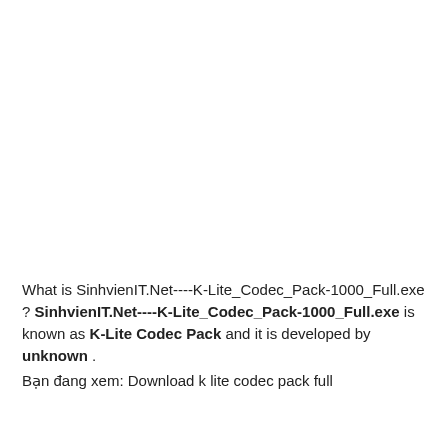What is SinhvienIT.Net----K-Lite_Codec_Pack-1000_Full.exe ? SinhvienIT.Net----K-Lite_Codec_Pack-1000_Full.exe is known as K-Lite Codec Pack and it is developed by unknown .
Bạn đang xem: Download k lite codec pack full